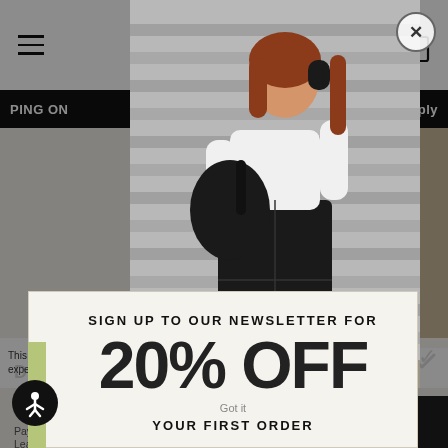[Figure (screenshot): E-commerce website screenshot showing a fashion model wearing a white crop top and black maxi cargo skirt with black sneakers, posing against a metal shutter backdrop. The page shows partial product details and navigation.]
DESA
$49.
Pay in
Learn m
PING ON
ply
This website uses cookies to ensure you get the best experience on our website. Learn more
[Figure (photo): Fashion model with auburn hair wearing white long-sleeve crop top, black parachute/cargo maxi skirt, and black platform sneakers, holding a black bag and headphones against a corrugated metal shutter background]
SIGN UP TO OUR NEWSLETTER FOR
20% OFF
Got it
YOUR FIRST ORDER